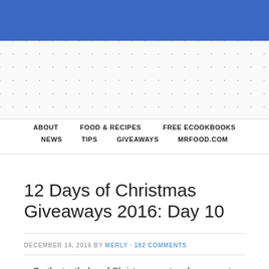[Figure (other): Blue header bar at top of webpage]
[Figure (other): Dotted/polka-dot pattern background area below blue bar, website header region]
ABOUT  FOOD & RECIPES  FREE ECOOKBOOKS  NEWS  TIPS  GIVEAWAYS  MRFOOD.COM
12 Days of Christmas Giveaways 2016: Day 10
DECEMBER 14, 2016 BY MERLY · 182 COMMENTS
On the tenth day of Christmas my true love gave to me…